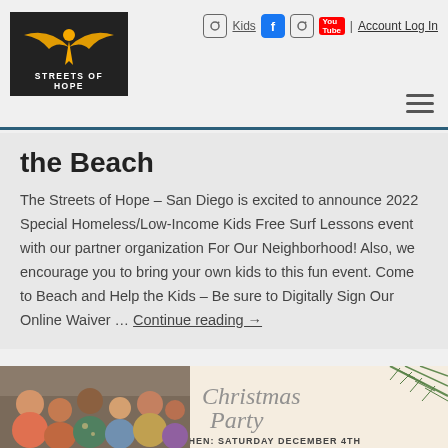Streets of Hope — Kids | Account Log In
the Beach
The Streets of Hope – San Diego is excited to announce 2022 Special Homeless/Low-Income Kids Free Surf Lessons event with our partner organization For Our Neighborhood! Also, we encourage you to bring your own kids to this fun event. Come to Beach and Help the Kids – Be sure to Digitally Sign Our Online Waiver … Continue reading →
[Figure (photo): Children gathered together at an event, partial view]
[Figure (photo): Christmas Party event flyer with cursive text 'Christmas Party' and pine branch decoration, WHEN: SATURDAY DECEMBER 4TH]